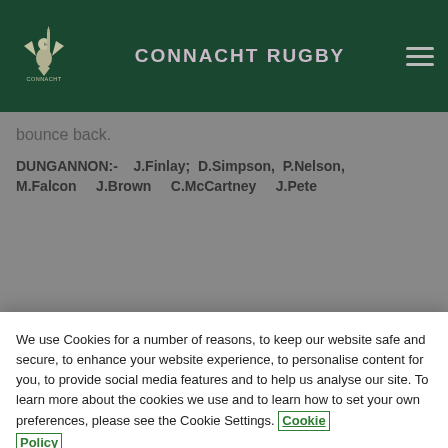CONNACHT RUGBY
bounce back.
DUNGANNON:- J.Finlay; D.Simpson, P.Nelson, M.Falcon J.Brown C.McCartney J.Pete
We use Cookies for a number of reasons, to keep our website safe and secure, to enhance your website experience, to personalise content for you, to provide social media features and to help us analyse our site. To learn more about the cookies we use and to learn how to set your own preferences, please see the Cookie Settings. Cookie Policy
Cookies Settings
Reject All Cookies
Accept All Cookies